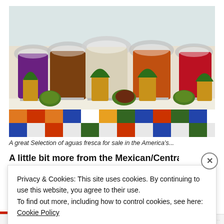[Figure (photo): A colorful display of aguas frescas (fruit drinks) in large glass jars on a shelf decorated with a colorful checkered tile border. Small pineapples and mangoes are arranged in front of the jars as decoration. The drinks are various colors including purple, brown, beige/white, orange, and red.]
A great Selection of aguas fresca for sale in the America's...
A little bit more from the Mexican/Central American part of
Privacy & Cookies: This site uses cookies. By continuing to use this website, you agree to their use.
To find out more, including how to control cookies, see here: Cookie Policy